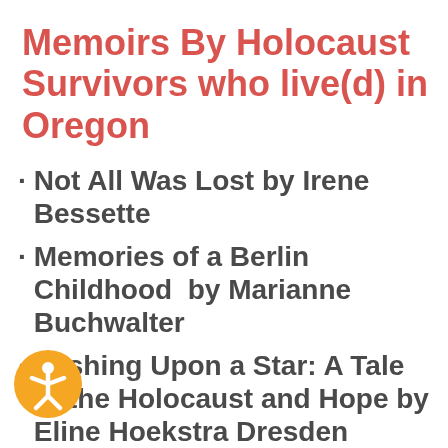Memoirs By Holocaust Survivors who live(d) in Oregon
Not All Was Lost by Irene Bessette
Memories of a Berlin Childhood  by Marianne Buchwalter
Wishing Upon a Star: A Tale of the Holocaust and Hope by Eline Hoekstra Dresden